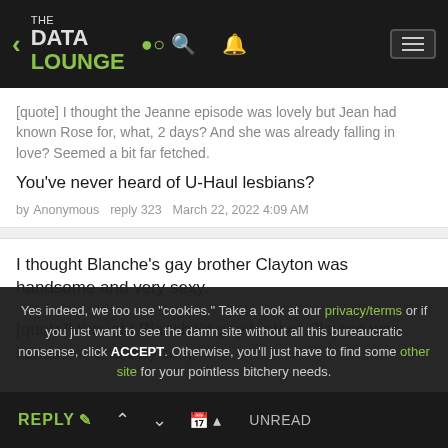THE DATA LOUNGE
[quote] I thought the Jeanne episode was lovely but Jean had known Rose for, what, 2 days? And she was already falling in love? Seemed a bit far fetched.

You've never heard of U-Haul lesbians?

by Anonymous  reply 323  March 22, 2022 4:09 AM
I thought Blanche's gay brother Clayton was handsome and very sexy.

[quote]I thought Blanche's gay brother Clayton was handsome and very sexy.
Yes indeed, we too use "cookies." Take a look at our privacy/terms or if you just want to see the damn site without all this bureaucratic nonsense, click ACCEPT. Otherwise, you'll just have to find some other site for your pointless bitchery needs.
REPLY  ↑  ↓  📅 ▲  UNREAD